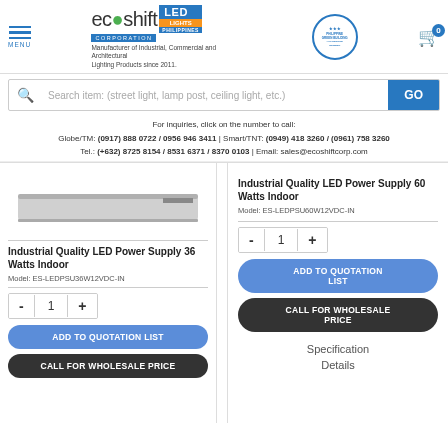Ecoshift Corporation LED Lights Philippines - Manufacturer of Industrial, Commercial and Architectural Lighting Products since 2011.
For inquiries, click on the number to call: Globe/TM: (0917) 888 0722 / 0956 946 3411 | Smart/TNT: (0949) 418 3260 / (0961) 758 3260 Tel.: (+632) 8725 8154 / 8531 6371 / 8370 0103 | Email: sales@ecoshiftcorp.com
[Figure (photo): Product image - Industrial Quality LED Power Supply 36 Watts Indoor]
Industrial Quality LED Power Supply 36 Watts Indoor
Model: ES-LEDPSU36W12VDC-IN
ADD TO QUOTATION LIST
CALL FOR WHOLESALE PRICE
Industrial Quality LED Power Supply 60 Watts Indoor
Model: ES-LEDPSU60W12VDC-IN
ADD TO QUOTATION LIST
CALL FOR WHOLESALE PRICE
Specification Details